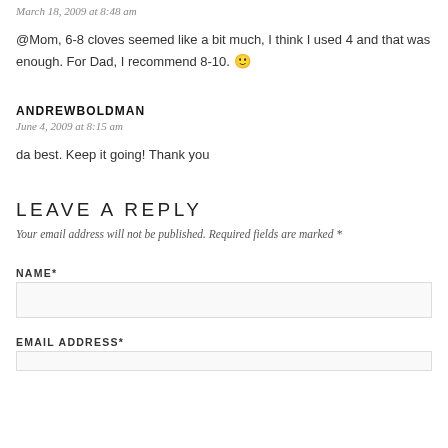March 18, 2009 at 8:48 am
@Mom, 6-8 cloves seemed like a bit much, I think I used 4 and that was enough. For Dad, I recommend 8-10. 🙂
ANDREWBOLDMAN
June 4, 2009 at 8:15 am
da best. Keep it going! Thank you
LEAVE A REPLY
Your email address will not be published. Required fields are marked *
NAME*
EMAIL ADDRESS*